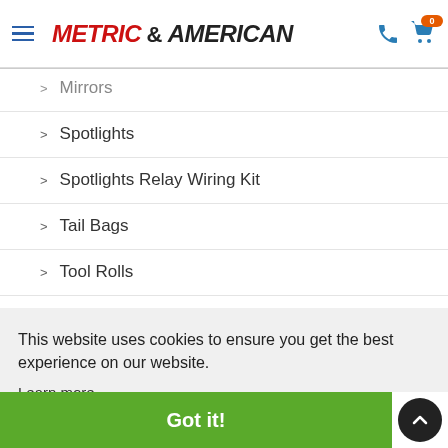METRIC & AMERICAN
Mirrors (partially visible)
Spotlights
Spotlights Relay Wiring Kit
Tail Bags
Tool Rolls
F6B
Pro End... (partially visible)
This website uses cookies to ensure you get the best experience on our website. Learn more
Got it!